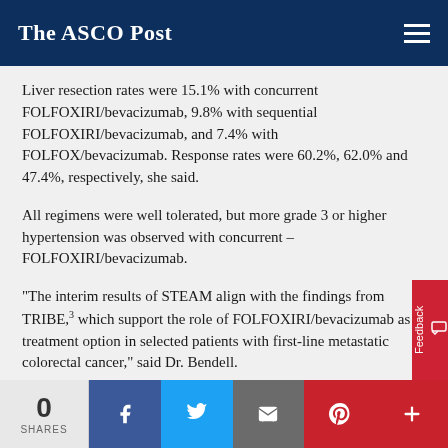The ASCO Post
Liver resection rates were 15.1% with concurrent FOLFOXIRI/bevacizumab, 9.8% with sequential FOLFOXIRI/bevacizumab, and 7.4% with FOLFOX/bevacizumab. Response rates were 60.2%, 62.0% and 47.4%, respectively, she said.
All regimens were well tolerated, but more grade 3 or higher hypertension was observed with concurrent – FOLFOXIRI/bevacizumab.
“The interim results of STEAM align with the findings from TRIBE,³ which support the role of FOLFOXIRI/bevacizumab as a treatment option in selected patients with first-line metastatic colorectal cancer,” said Dr. Bendell.
MAVERICC: ERCC1 Does Not Predict Benefit
0 SHARES